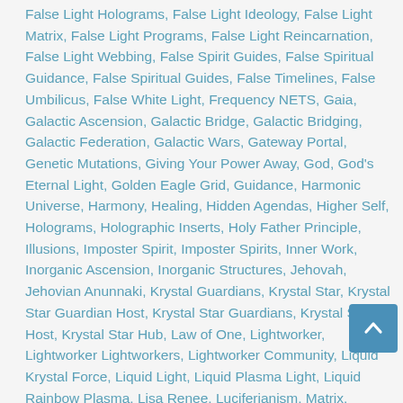False Light Holograms, False Light Ideology, False Light Matrix, False Light Programs, False Light Reincarnation, False Light Webbing, False Spirit Guides, False Spiritual Guidance, False Spiritual Guides, False Timelines, False Umbilicus, False White Light, Frequency NETS, Gaia, Galactic Ascension, Galactic Bridge, Galactic Bridging, Galactic Federation, Galactic Wars, Gateway Portal, Genetic Mutations, Giving Your Power Away, God, God's Eternal Light, Golden Eagle Grid, Guidance, Harmonic Universe, Harmony, Healing, Hidden Agendas, Higher Self, Holograms, Holographic Inserts, Holy Father Principle, Illusions, Imposter Spirit, Imposter Spirits, Inner Work, Inorganic Ascension, Inorganic Structures, Jehovah, Jehovian Anunnaki, Krystal Guardians, Krystal Star, Krystal Star Guardian Host, Krystal Star Guardians, Krystal Star Host, Krystal Star Hub, Law of One, Lightworker, Lightworker Lightworkers, Lightworker Community, Liquid Krystal Force, Liquid Light, Liquid Plasma Light, Liquid Rainbow Plasma, Lisa Renee, Luciferianism, Matrix, Meditation, Metaphysical Distortions, Metatronic Reversal, Mind Control, Mind Control
[Figure (other): Scroll-to-top button with up arrow icon]